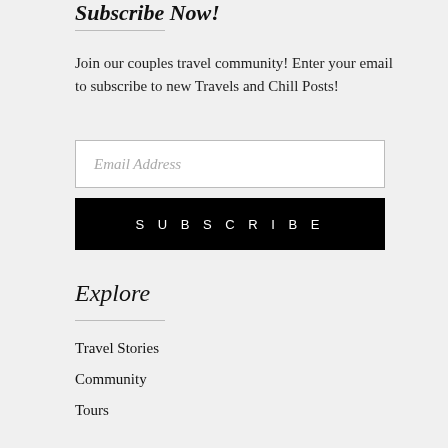Subscribe Now!
Join our couples travel community! Enter your email to subscribe to new Travels and Chill Posts!
Email Address
SUBSCRIBE
Explore
Travel Stories
Community
Tours